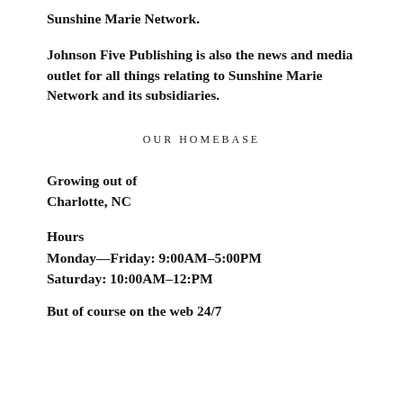Sunshine Marie Network.
Johnson Five Publishing is also the news and media outlet for all things relating to Sunshine Marie Network and its subsidiaries.
OUR HOMEBASE
Growing out of Charlotte, NC
Hours
Monday—Friday: 9:00AM–5:00PM
Saturday: 10:00AM–12:PM
But of course on the web 24/7